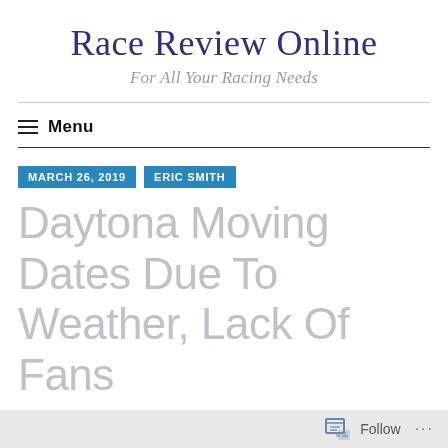Race Review Online
For All Your Racing Needs
Menu
MARCH 26, 2019   ERIC SMITH
Daytona Moving Dates Due To Weather, Lack Of Fans
Follow ...